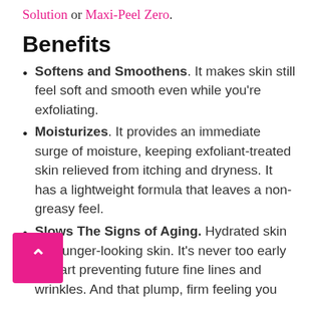Solution or Maxi-Peel Zero.
Benefits
Softens and Smoothens. It makes skin still feel soft and smooth even while you're exfoliating.
Moisturizes. It provides an immediate surge of moisture, keeping exfoliant-treated skin relieved from itching and dryness. It has a lightweight formula that leaves a non-greasy feel.
Slows The Signs of Aging. Hydrated skin is younger-looking skin. It's never too early to start preventing future fine lines and wrinkles. And that plump, firm feeling you